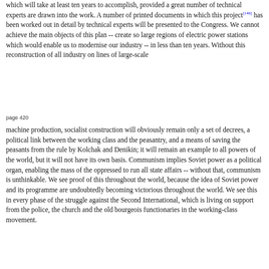which will take at least ten years to accomplish, provided a great number of technical experts are drawn into the work. A number of printed documents in which this project[146] has been worked out in detail by technical experts will be presented to the Congress. We cannot achieve the main objects of this plan -- create so large regions of electric power stations which would enable us to modernise our industry -- in less than ten years. Without this reconstruction of all industry on lines of large-scale
page 420
machine production, socialist construction will obviously remain only a set of decrees, a political link between the working class and the peasantry, and a means of saving the peasants from the rule by Kolchak and Denikin; it will remain an example to all powers of the world, but it will not have its own basis. Communism implies Soviet power as a political organ, enabling the mass of the oppressed to run all state affairs -- without that, communism is unthinkable. We see proof of this throughout the world, because the idea of Soviet power and its programme are undoubtedly becoming victorious throughout the world. We see this in every phase of the struggle against the Second International, which is living on support from the police, the church and the old bourgeois functionaries in the working-class movement.